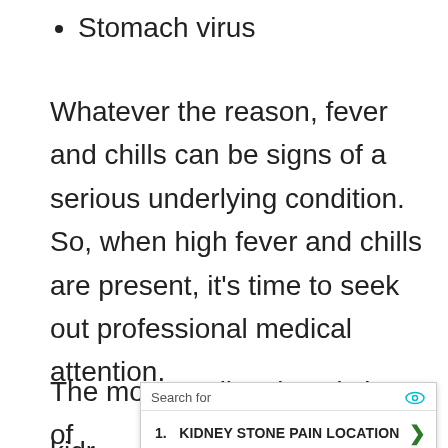Stomach virus
Whatever the reason, fever and chills can be signs of a serious underlying condition. So, when high fever and chills are present, it’s time to seek out professional medical attention.
The most easily missed sign of kidn...
[Figure (screenshot): Ad overlay with search results. Header reads 'Search for' with an eye icon. Item 1: 'KIDNEY STONE PAIN LOCATION' with a green arrow. Item 2: 'WAYS TO DISSOLVE KIDNEY STONES' with a green arrow. Footer: 'Ad | Business Focus' with a play icon.]
The...